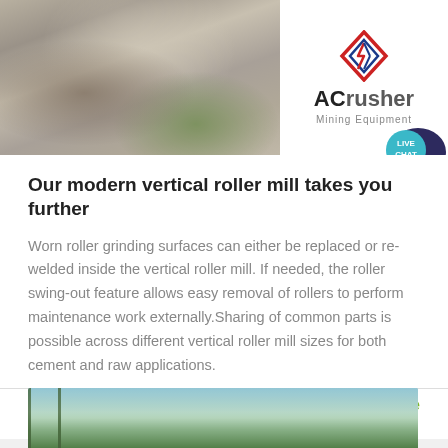[Figure (photo): Top banner split image: left side shows gravel/aggregate pile at a quarry site; right side shows ACrusher Mining Equipment logo with red and blue diamond shape]
Our modern vertical roller mill takes you further
Worn roller grinding surfaces can either be replaced or re-welded inside the vertical roller mill. If needed, the roller swing-out feature allows easy removal of rollers to perform maintenance work externally.Sharing of common parts is possible across different vertical roller mill sizes for both cement and raw applications.
Get Price
[Figure (photo): Bottom partial image showing a mountainous/forested landscape with a vertical pole/mast visible]